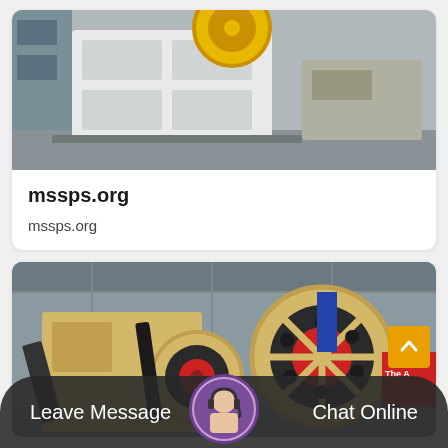[Figure (photo): Industrial jaw crusher machine, white/grey metal body with yellow flywheel, in a factory setting]
mssps.org
mssps.org
[Figure (photo): Large industrial impact crusher with yellow body and large red-and-black flywheels, inside a factory building]
Leave Message   Chat Online